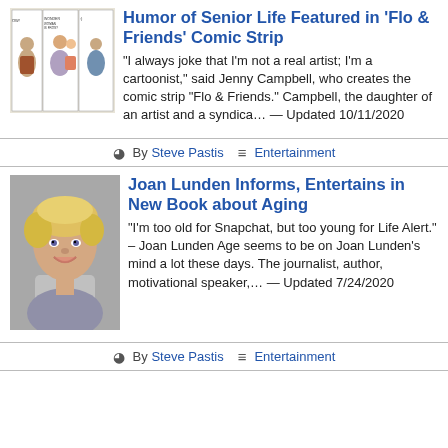[Figure (illustration): Comic strip thumbnail for 'Flo & Friends']
Humor of Senior Life Featured in 'Flo & Friends' Comic Strip
"I always joke that I'm not a real artist; I'm a cartoonist," said Jenny Campbell, who creates the comic strip "Flo & Friends." Campbell, the daughter of an artist and a syndica… — Updated 10/11/2020
⚇ By Steve Pastis  ≡ Entertainment
[Figure (photo): Photo of Joan Lunden, a blonde woman smiling]
Joan Lunden Informs, Entertains in New Book about Aging
"I'm too old for Snapchat, but too young for Life Alert." – Joan Lunden Age seems to be on Joan Lunden's mind a lot these days. The journalist, author, motivational speaker,… — Updated 7/24/2020
⚇ By Steve Pastis  ≡ Entertainment